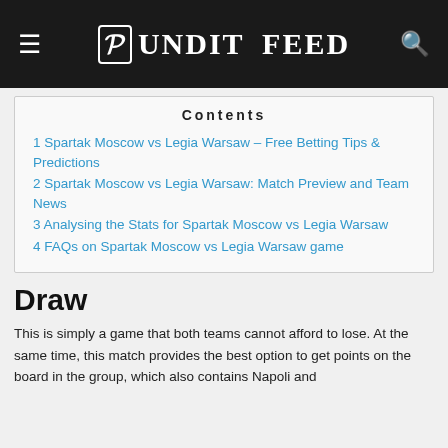Pundit Feed
1 Spartak Moscow vs Legia Warsaw – Free Betting Tips & Predictions
2 Spartak Moscow vs Legia Warsaw: Match Preview and Team News
3 Analysing the Stats for Spartak Moscow vs Legia Warsaw
4 FAQs on Spartak Moscow vs Legia Warsaw game
Draw
This is simply a game that both teams cannot afford to lose. At the same time, this match provides the best option to get points on the board in the group, which also contains Napoli and